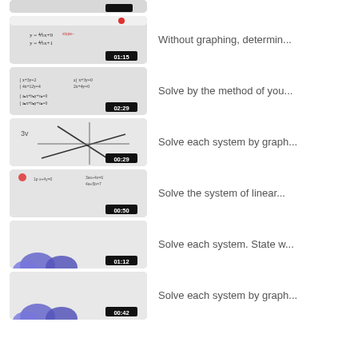[Figure (screenshot): Partial video thumbnail at top, cropped]
Without graphing, determin... — 01:15
Solve by the method of you... — 02:29
Solve each system by graph... — 00:29
Solve the system of linear... — 00:50
Solve each system. State w... — 01:12
Solve each system by graph... — 00:42